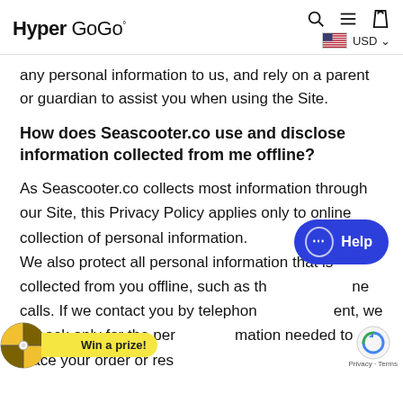Hyper GoGo°  [search] [menu] [cart]  🇺🇸 USD
any personal information to us, and rely on a parent or guardian to assist you when using the Site.
How does Seascooter.co use and disclose information collected from me offline?
As Seascooter.co collects most information through our Site, this Privacy Policy applies only to online collection of personal information. We also protect all personal information that is collected from you offline, such as the telephone calls. If we contact you by telephone consent, we will ask only for the personal information needed to place your order or resolve